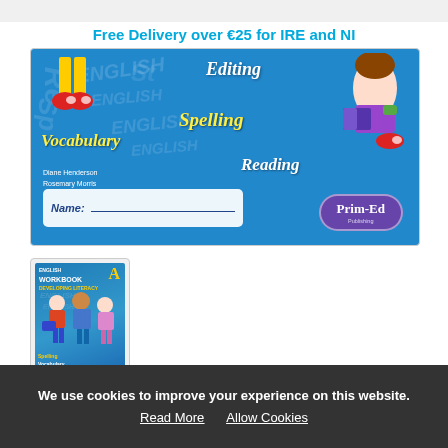Free Delivery over €25 for IRE and NI
[Figure (photo): Cover of English Workbook showing cartoon children, with labels: Editing, Spelling, Vocabulary, Reading, Name field, Prim-Ed logo]
[Figure (photo): Thumbnail of English Workbook A - Developing Literacy cover]
We use cookies to improve your experience on this website.
Read More   Allow Cookies